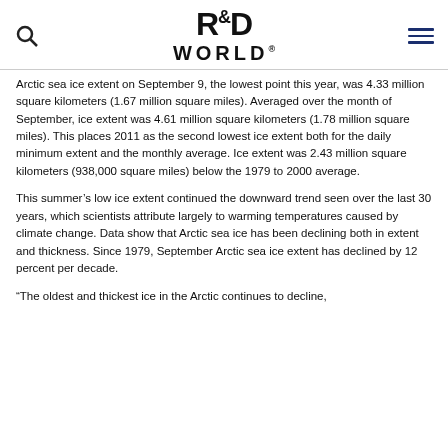R&D WORLD [logo with search and menu icons]
Arctic sea ice extent on September 9, the lowest point this year, was 4.33 million square kilometers (1.67 million square miles). Averaged over the month of September, ice extent was 4.61 million square kilometers (1.78 million square miles). This places 2011 as the second lowest ice extent both for the daily minimum extent and the monthly average. Ice extent was 2.43 million square kilometers (938,000 square miles) below the 1979 to 2000 average.
This summer's low ice extent continued the downward trend seen over the last 30 years, which scientists attribute largely to warming temperatures caused by climate change. Data show that Arctic sea ice has been declining both in extent and thickness. Since 1979, September Arctic sea ice extent has declined by 12 percent per decade.
“The oldest and thickest ice in the Arctic continues to decline,